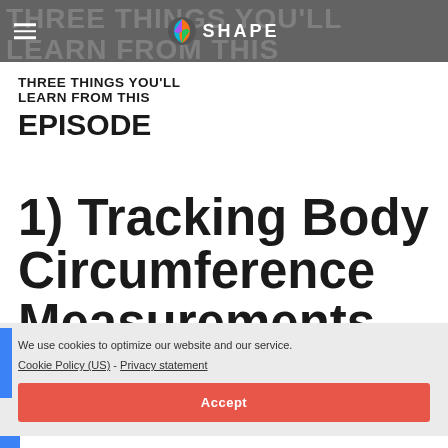THREE THINGS YOU'LL LEARN FROM THIS EPISODE — SHAPE
THREE THINGS YOU'LL LEARN FROM THIS EPISODE
1) Tracking Body Circumference Measurements For
We use cookies to optimize our website and our service.
Cookie Policy (US) - Privacy statement
Accept